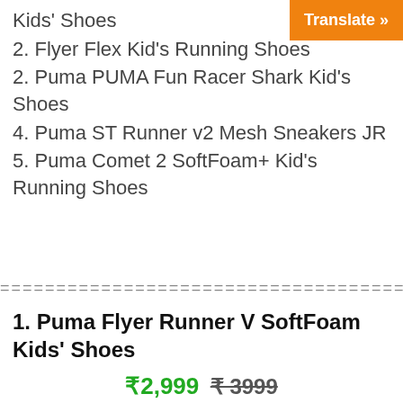Kids' Shoes
2. Flyer Flex Kid's Running Shoes
2. Puma PUMA Fun Racer Shark Kid's Shoes
4. Puma ST Runner v2 Mesh Sneakers JR
5. Puma Comet 2 SoftFoam+ Kid's Running Shoes
1. Puma Flyer Runner V SoftFoam Kids' Shoes
₹2,999 ₹ 3999 (Prices include GST)
PRODUCT
Comfort is b... ...er Runner